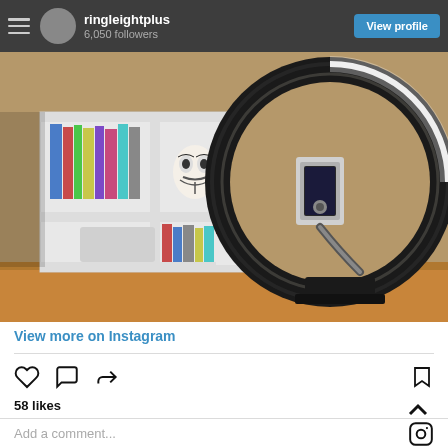ringleightplus 6,050 followers View profile
[Figure (photo): A ring light with a phone holder mounted on a desk. In the background is a white bookshelf with books and a Guy Fawkes mask, and a wooden desk surface. The ring light has bright white LEDs illuminated in a circular ring pattern.]
View more on Instagram
58 likes
Add a comment...